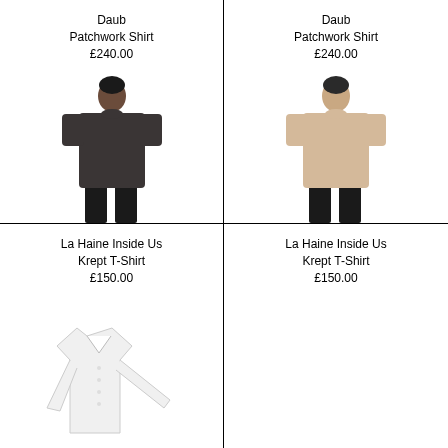Daub
Patchwork Shirt
£240.00
[Figure (photo): Model wearing a dark charcoal/black long T-shirt dress, cropped view showing torso and legs in black trousers]
Daub
Patchwork Shirt
£240.00
[Figure (photo): Model wearing a beige/sand long T-shirt dress, cropped view showing torso and legs in black trousers]
La Haine Inside Us
Krept T-Shirt
£150.00
[Figure (photo): White dress shirt laid flat, showing collar and long sleeves]
La Haine Inside Us
Krept T-Shirt
£150.00